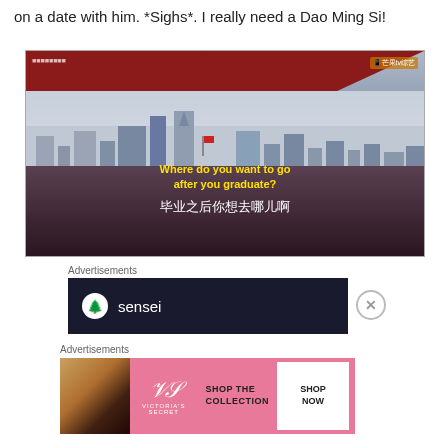on a date with him. *Sighs*. I really need a Dao Ming Si!
[Figure (screenshot): Screenshot from a Chinese drama/streaming show (芒果tv) showing two people sitting at an outdoor table with a city skyline and red umbrella in the background. Subtitles read: 'Where do you want to go after you graduate?' and '毕业之后你想去哪儿啊']
Advertisements
[Figure (screenshot): Advertisement for 'sensei' - dark background with white circle tree logo and 'sensei' text in white]
Advertisements
[Figure (screenshot): Victoria's Secret advertisement with pink background, model photo, VS logo, text 'SHOP THE COLLECTION' and 'SHOP NOW' button]